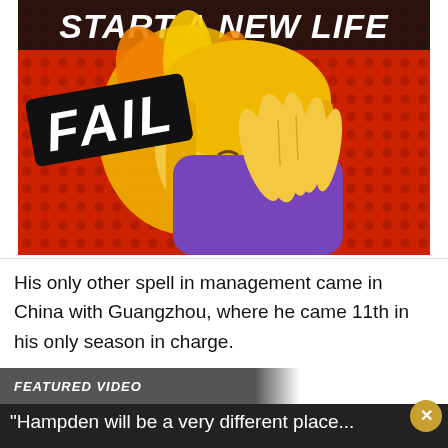[Figure (illustration): Cartoon facepalm emoji with blonde hair and purple sleeve, red dotted background, black banner with 'FAIL' text, white bold italic 'START A NEW LIFE' text at top]
His only other spell in management came in China with Guangzhou, where he came 11th in his only season in charge.
FEATURED VIDEO
"Hampden will be a very different place...